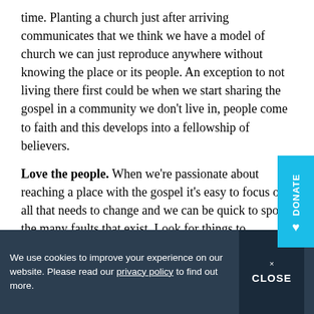time. Planting a church just after arriving communicates that we think we have a model of church we can just reproduce anywhere without knowing the place or its people. An exception to not living there first could be when we start sharing the gospel in a community we don't live in, people come to faith and this develops into a fellowship of believers.
Love the people. When we're passionate about reaching a place with the gospel it's easy to focus on all that needs to change and we can be quick to spot the many faults that exist. Look for things to appreciate. Determine to reject any tendency toward superiority over the local people. The hope is to reach people with the gospel; they know when they are a project rather
We use cookies to improve your experience on our website. Please read our privacy policy to find out more.